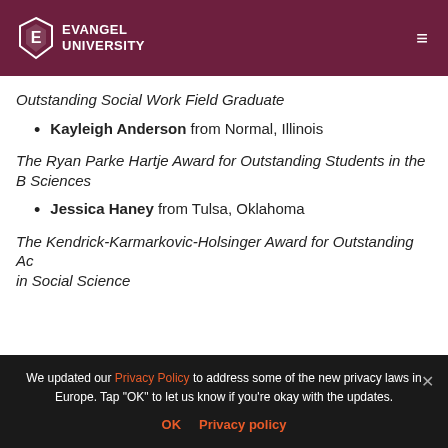Evangel University
Outstanding Social Work Field Graduate
Kayleigh Anderson from Normal, Illinois
The Ryan Parke Hartje Award for Outstanding Students in the Behavioral Sciences
Jessica Haney from Tulsa, Oklahoma
The Kendrick-Karmarkovic-Holsinger Award for Outstanding Achievement in Social Science
We updated our Privacy Policy to address some of the new privacy laws in Europe. Tap "OK" to let us know if you're okay with the updates.
OK   Privacy policy